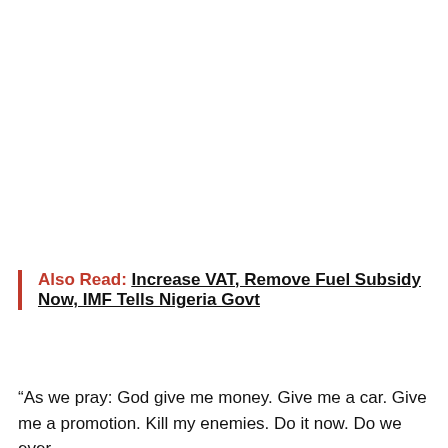Also Read: Increase VAT, Remove Fuel Subsidy Now, IMF Tells Nigeria Govt
“As we pray: God give me money. Give me a car. Give me a promotion. Kill my enemies. Do it now. Do we ever